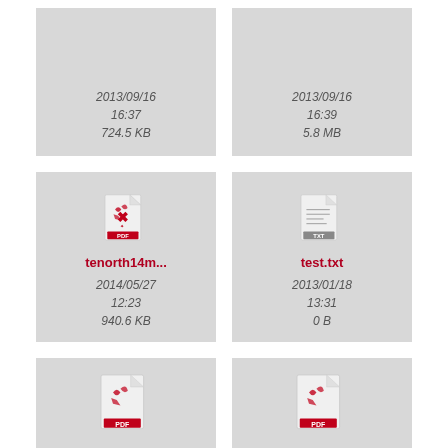[Figure (screenshot): File browser grid showing file cards. Top row (partially visible): two file cards showing dates 2013/09/16 16:37, 724.5 KB and 2013/09/16 16:39, 5.8 MB. Middle row: tenorth14m... PDF file dated 2014/05/27 12:23, 940.6 KB and test.txt dated 2013/01/18 13:31, 0 B. Bottom row (partially visible): waibel11rob... PDF and wiedemeyer... PDF.]